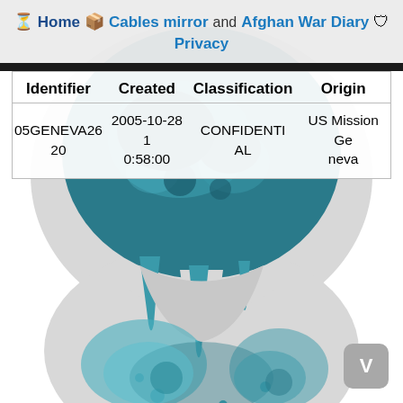Home  Cables mirror and Afghan War Diary  Privacy
| Identifier | Created | Classification | Origin |
| --- | --- | --- | --- |
| 05GENEVA26 20 | 2005-10-28 1 0:58:00 | CONFIDENTI AL | US Mission Ge neva |
[Figure (illustration): WikiLeaks hourglass logo with globe and dripping liquid, teal and grey color scheme]
V